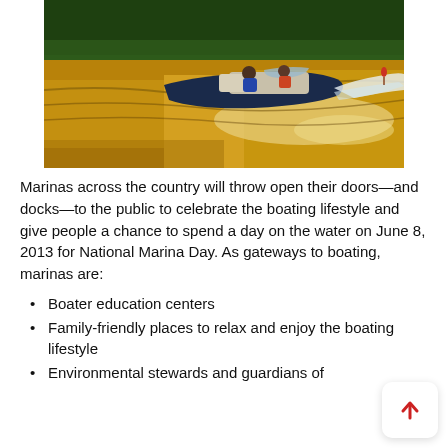[Figure (photo): A blue and white motorboat speeding across a golden-lit river or lake, with two people aboard and a water skier visible in the background. The shoreline has lush green trees. The water glows with warm amber and golden tones from the lighting.]
Marinas across the country will throw open their doors—and docks—to the public to celebrate the boating lifestyle and give people a chance to spend a day on the water on June 8, 2013 for National Marina Day. As gateways to boating, marinas are:
Boater education centers
Family-friendly places to relax and enjoy the boating lifestyle
Environmental stewards and guardians of